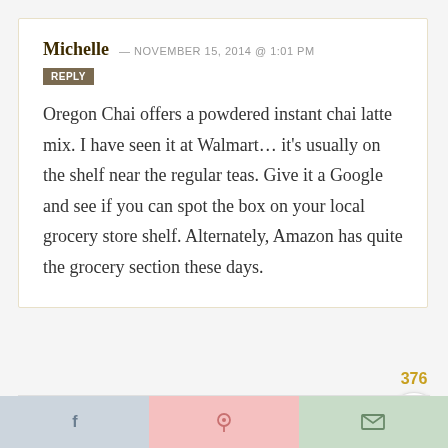Michelle — NOVEMBER 15, 2014 @ 1:01 PM REPLY
Oregon Chai offers a powdered instant chai latte mix. I have seen it at Walmart… it's usually on the shelf near the regular teas. Give it a Google and see if you can spot the box on your local grocery store shelf. Alternately, Amazon has quite the grocery section these days.
376
[Figure (illustration): Heart icon (like button) in a white circle, and a search magnifying glass icon in a golden circle]
[Figure (illustration): Bottom share bar with Facebook, Pinterest, and email icons on colored backgrounds (blue-grey, pink, sage green)]